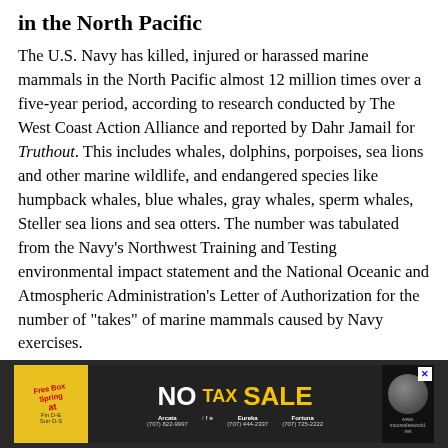in the North Pacific
The U.S. Navy has killed, injured or harassed marine mammals in the North Pacific almost 12 million times over a five-year period, according to research conducted by The West Coast Action Alliance and reported by Dahr Jamail for Truthout. This includes whales, dolphins, porpoises, sea lions and other marine wildlife, and endangered species like humpback whales, blue whales, gray whales, sperm whales, Steller sea lions and sea otters. The number was tabulated from the Navy's Northwest Training and Testing environmental impact statement and the National Oceanic and Atmospheric Administration's Letter of Authorization for the number of "takes" of marine mammals caused by Navy exercises.
[Figure (other): Advertisement banner for a mattress/furniture store - 'Free Box Spring' badge, NO TAX SALE promotion, store locations in Arcata, Eureka, Fortuna with phone numbers and website mooresleeworld.net]